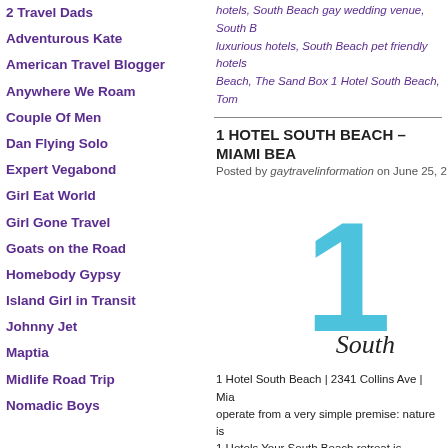2 Travel Dads
Adventurous Kate
American Travel Blogger
Anywhere We Roam
Couple Of Men
Dan Flying Solo
Expert Vegabond
Girl Eat World
Girl Gone Travel
Goats on the Road
Homebody Gypsy
Island Girl in Transit
Johnny Jet
Maptia
Midlife Road Trip
Nomadic Boys
hotels, South Beach gay wedding venue, South Beach luxurious hotels, South Beach pet friendly hotels, Beach, The Sand Box 1 Hotel South Beach, Tom
1 HOTEL SOUTH BEACH – MIAMI BEA
Posted by gaytravelinformation on June 25, 2
[Figure (photo): 1 Hotel South Beach logo and branding image with teal/cyan color scheme showing the numeral 1 and script text 'South']
1 Hotel South Beach | 2341 Collins Ave | Mia operate from a very simple premise: nature is 1 Hotels  Your South Beach retreat is inspired